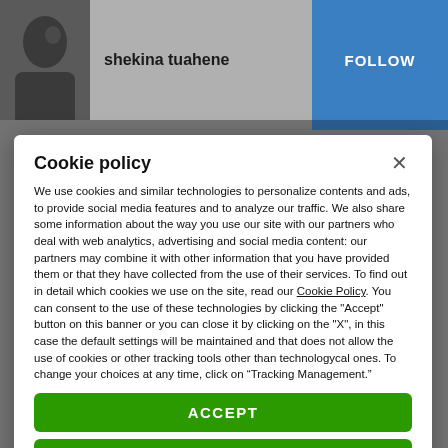[Figure (photo): Profile avatar photo of a person]
shekina tuahene
FOLLOW
Cookie policy
We use cookies and similar technologies to personalize contents and ads, to provide social media features and to analyze our traffic. We also share some information about the way you use our site with our partners who deal with web analytics, advertising and social media content: our partners may combine it with other information that you have provided them or that they have collected from the use of their services. To find out in detail which cookies we use on the site, read our Cookie Policy. You can consent to the use of these technologies by clicking the "Accept" button on this banner or you can close it by clicking on the "X", in this case the default settings will be maintained and that does not allow the use of cookies or other tracking tools other than technologycal ones. To change your choices at any time, click on “Tracking Management.”
ACCEPT
TRACKERS MANAGEMENT
Show vendors | Show purposes